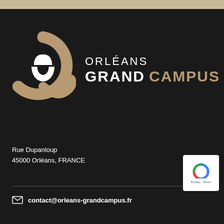[Figure (logo): Orléans Grand Campus logo: dark background with a circular 'G' shape in tan/brown color with a white 'O' letter inside, followed by text 'ORLÉANS GRAND CAMPUS']
Rue Dupanloup
45000 Orléans, FRANCE
contact@orleans-grandcampus.fr